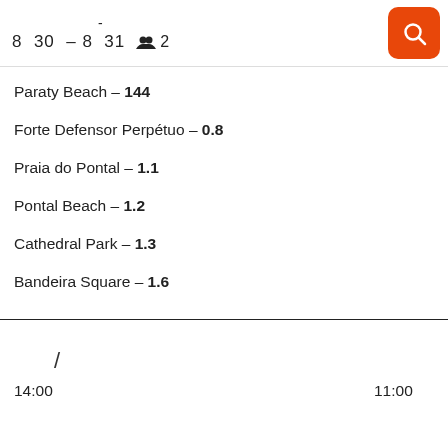- | 8 30 – 8 31 | 👥 2
Paraty Beach – 144
Forte Defensor Perpétuo – 0.8
Praia do Pontal – 1.1
Pontal Beach – 1.2
Cathedral Park – 1.3
Bandeira Square – 1.6
/ | 14:00 | 11:00